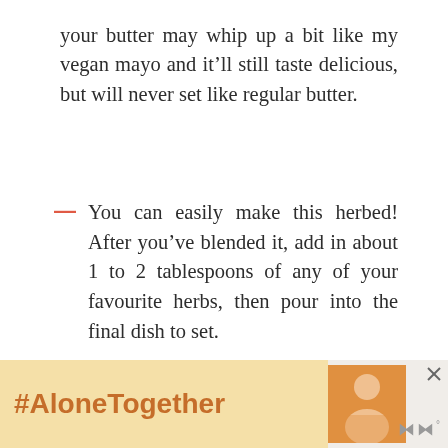your butter may whip up a bit like my vegan mayo and it'll still taste delicious, but will never set like regular butter.
You can easily make this herbed! After you've blended it, add in about 1 to 2 tablespoons of any of your favourite herbs, then pour into the final dish to set.
[Figure (screenshot): Grey box content area with social interaction buttons: heart/like button (teal circle) with count 739, and share button (white circle). Bottom ad banner showing #AloneTogether hashtag in orange on yellow background with a photo and Meredith logo.]